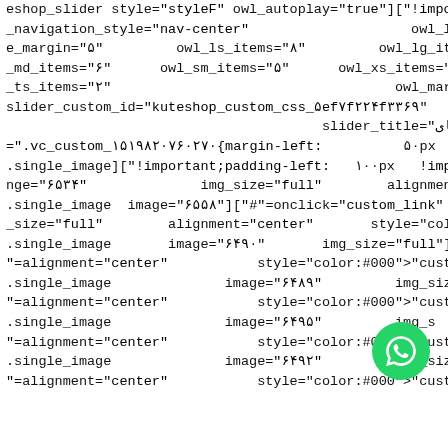eshop_slider style="styleF" owl_autoplay="true"]["!important;}
_navigation_style="nav-center"                    owl_loop="true"
e_margin="۵"         owl_ls_items="۸"         owl_lg_items="۸"
_md_items="۶"      owl_sm_items="۵"      owl_xs_items="۴"
_ts_items="۲"                                   owl_margin="۲"
slider_custom_id="kuteshop_custom_css_۵ef۷f۲۲۴f۳۳۶۹"
                                       slider_title="برندهای"
=".vc_custom_۱۵۱۹۸۲۰۷۶۰۲۷۰{margin-left:          ۵۰px
.single_image]["!important;padding-left:   ۱۰۰px   !important;}
nge="۶۵۳۴"              img_size="full"        alignment="center"
.single_image  image="۶۵۵۸"]["#"=onclick="custom_link"  link
_size="full"        alignment="center"       onclick="custom_link"
.single_image       image="۶۴۹۰"       img_size="full"]["#"=link
"=alignment="center"           onclick="custom_link"           link
.single_image              image="۶۴۸۹"         img_size="full"]
"=alignment="center"           onclick="custom_link"           link
.single_image              image="۶۴۹۵"         img_s
"=alignment="center"           onclick="custom_link"
.single_image              image="۶۴۹۲"         img_size="full"]
"=alignment="center"           onclick="custom_link"            link
[Figure (illustration): WhatsApp floating button icon, circular green button with white phone/chat icon]